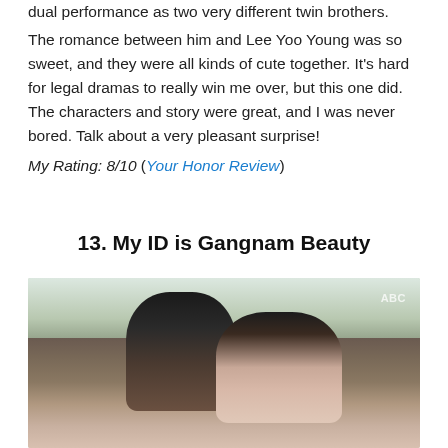dual performance as two very different twin brothers.
The romance between him and Lee Yoo Young was so sweet, and they were all kinds of cute together. It's hard for legal dramas to really win me over, but this one did. The characters and story were great, and I was never bored. Talk about a very pleasant surprise!
My Rating: 8/10 (Your Honor Review)
13. My ID is Gangnam Beauty
[Figure (photo): A young man and woman from Korean drama 'My ID is Gangnam Beauty', standing together outdoors. The man has dark hair and wears a striped shirt. The woman has long dark hair and is smiling. ABC watermark visible in top right corner.]